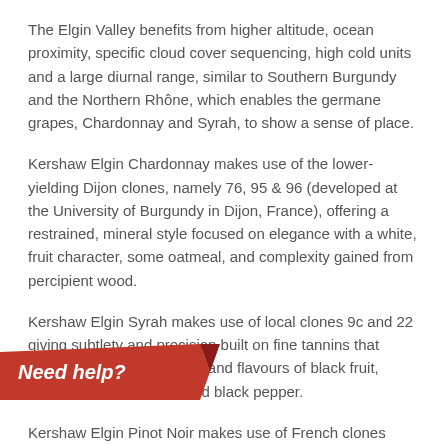The Elgin Valley benefits from higher altitude, ocean proximity, specific cloud cover sequencing, high cold units and a large diurnal range, similar to Southern Burgundy and the Northern Rhône, which enables the germane grapes, Chardonnay and Syrah, to show a sense of place.
Kershaw Elgin Chardonnay makes use of the lower-yielding Dijon clones, namely 76, 95 & 96 (developed at the University of Burgundy in Dijon, France), offering a restrained, mineral style focused on elegance with a white, fruit character, some oatmeal, and complexity gained from percipient wood.
Kershaw Elgin Syrah makes use of local clones 9c and 22 giving subtlety and precision built on fine tannins that educe harmony, freshness and flavours of black fruit, iodine, medicinal notes and black pepper.
Kershaw Elgin Pinot Noir makes use of French clones PN667, PN115 and PN113 giving floral attributes ...urity, focus and freshness framed by fine ...et cushioned by a succulent texture and ...
[Figure (other): Red 'Need help?' banner/button overlay in the bottom-left corner of the page, styled like a curled label]